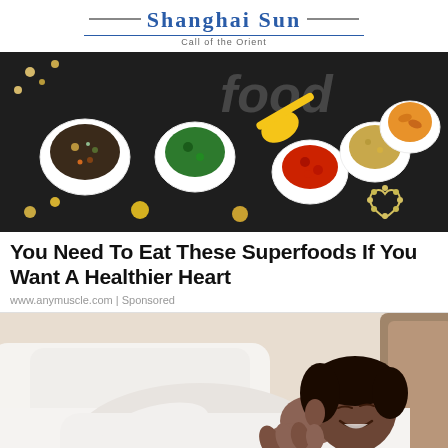Shanghai Sun — Call of the Orient
[Figure (photo): Overhead view of various superfoods in bowls on a dark chalkboard background, with a yellow spoon, nuts, seeds, berries, and a heart shape made of nuts. Partial chalk text 'food' visible.]
You Need To Eat These Superfoods If You Want A Healthier Heart
www.anymuscle.com | Sponsored
[Figure (photo): A smiling Black man lying in bed on white sheets, wearing a white t-shirt, eyes closed, appearing to sleep contentedly.]